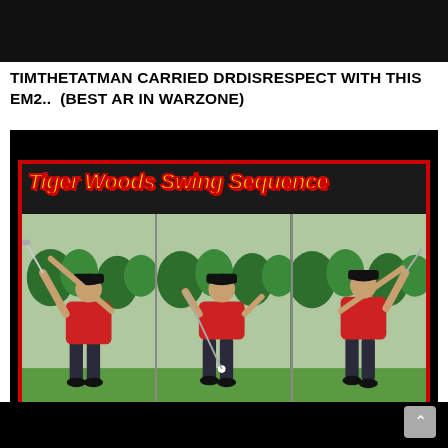[Figure (screenshot): Top black banner strip from a webpage/video player]
TIMTHETATMAN CARRIED DRDISRESPECT WITH THIS EM2.. (BEST AR IN WARZONE)
[Figure (screenshot): YouTube thumbnail showing Tiger Woods Swing Sequence with three panels of Tiger Woods in a red shirt performing a golf swing, with yellow italic text 'Tiger Woods Swing Sequence' over a red border on dark background]